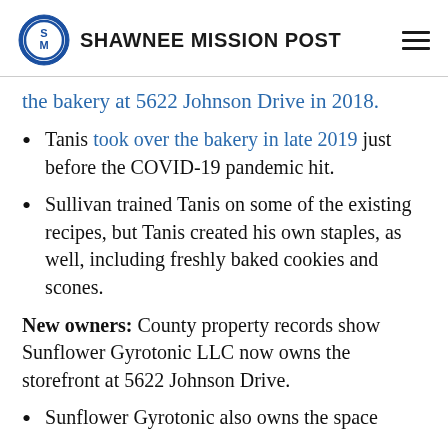SHAWNEE MISSION POST
the bakery at 5622 Johnson Drive in 2018.
Tanis took over the bakery in late 2019 just before the COVID-19 pandemic hit.
Sullivan trained Tanis on some of the existing recipes, but Tanis created his own staples, as well, including freshly baked cookies and scones.
New owners: County property records show Sunflower Gyrotonic LLC now owns the storefront at 5622 Johnson Drive.
Sunflower Gyrotonic also owns the space